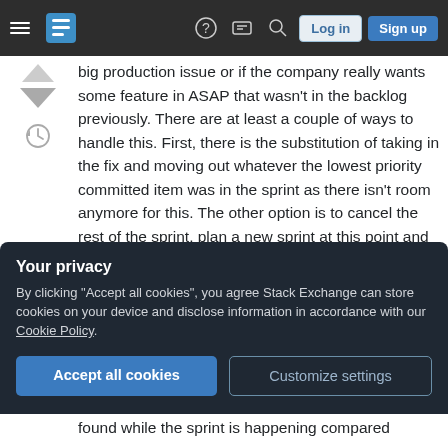Stack Exchange navigation bar with hamburger menu, logo, help, chat, search icons, Log in and Sign up buttons
big production issue or if the company really wants some feature in ASAP that wasn't in the backlog previously. There are at least a couple of ways to handle this. First, there is the substitution of taking in the fix and moving out whatever the lowest priority committed item was in the sprint as there isn't room anymore for this. The other option is to cancel the rest of the sprint, plan a new sprint at this point and adjust future plans accordingly.
2. How critical are the bugs to the Product
Your privacy
By clicking "Accept all cookies", you agree Stack Exchange can store cookies on your device and disclose information in accordance with our Cookie Policy.
Accept all cookies
Customize settings
found while the sprint is happening compared